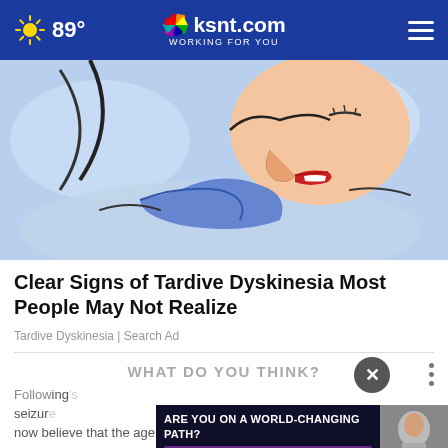89° ksnt.com WORKING FOR YOU
[Figure (illustration): Illustrated artwork of a person's face lying down, appearing to blow or breathe on something, with stylized blue and white background colors]
Clear Signs of Tardive Dyskinesia Most People May Not Realize
Tardive Dyskinesia | Search Ad
WHAT DO YOU THINK?
Following's seizure now believe that the agency's search of former President
[Figure (screenshot): Advertisement banner: ARE YOU ON A WORLD-CHANGING PATH? DON'T MAKE THE WORLD WAIT. K-State Online logo, with photo of person studying]